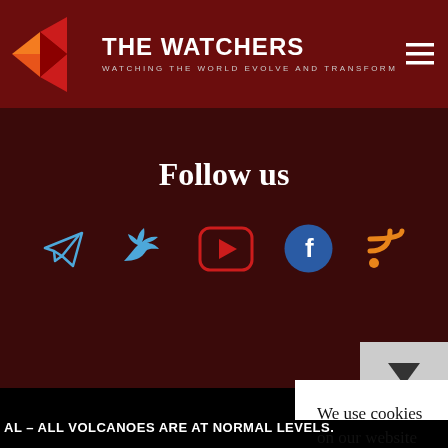[Figure (logo): The Watchers logo with red/orange geometric bird shape and white text 'THE WATCHERS' with subtitle 'WATCHING THE WORLD EVOLVE AND TRANSFORM']
Follow us
[Figure (infographic): Social media icons row: Telegram (blue paper plane), Twitter/X (blue bird), YouTube (red rounded rectangle with play button), Facebook (blue circle with f), RSS (orange wifi-like symbol)]
We use cookies on our website to give you the most relevant experience by remembering your preferences and repeat visits. By clicking “Accept”, you consent to the use of ALL the cookies.
Do not sell my personal information.
Cookie settings
Accept
The Watchers
Except where otherwise noted, content on this site is licensed under a Creative
AL – ALL VOLCANOES ARE AT NORMAL LEVELS.